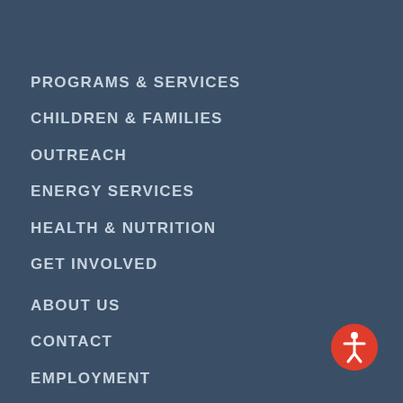PROGRAMS & SERVICES
CHILDREN & FAMILIES
OUTREACH
ENERGY SERVICES
HEALTH & NUTRITION
GET INVOLVED
ABOUT US
CONTACT
EMPLOYMENT
EMPLOYEE PORTAL
[Figure (illustration): Red circular accessibility icon with white figure of a person]